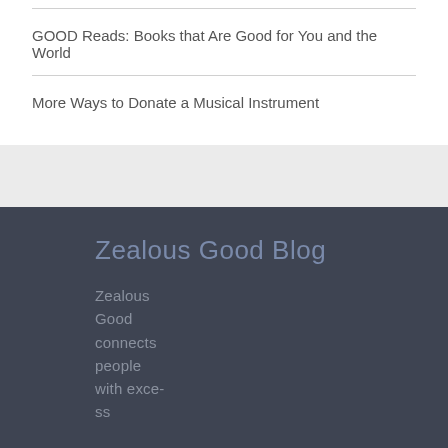GOOD Reads: Books that Are Good for You and the World
More Ways to Donate a Musical Instrument
Zealous Good Blog
Zealous Good connects people with excess